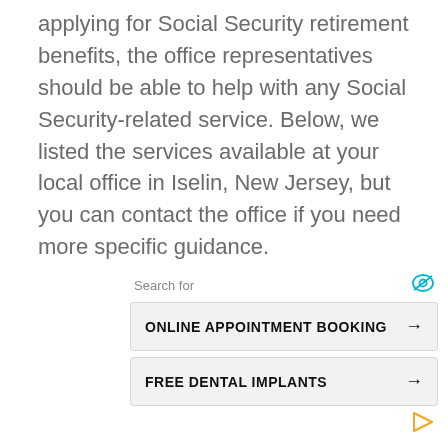applying for Social Security retirement benefits, the office representatives should be able to help with any Social Security-related service. Below, we listed the services available at your local office in Iselin, New Jersey, but you can contact the office if you need more specific guidance.
Search for
ONLINE APPOINTMENT BOOKING →
FREE DENTAL IMPLANTS →